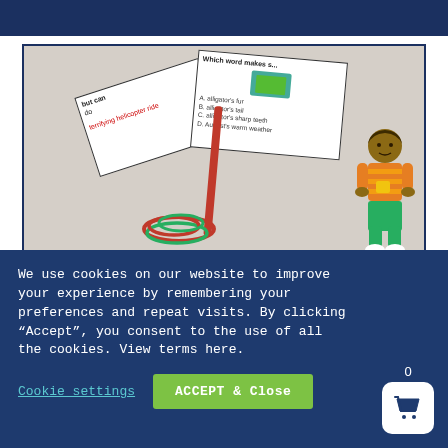[Figure (photo): Educational reading fluency cards with text about helicopter ride and alligator, colorful rubber bands, and an illustrated cartoon child character on the right side]
OPEN CLOSED SYLLABLE DECODING MULTISYLLABIC FLUENCY PHRASES -4 DISTANCE LEARNING
$7.00
We use cookies on our website to improve your experience by remembering your preferences and repeat visits. By clicking “Accept”, you consent to the use of all the cookies. View terms here.
Cookie settings
ACCEPT & Close